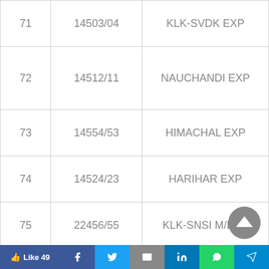| Sr. No. | Train No. | Train Name |
| --- | --- | --- |
| 71 | 14503/04 | KLK-SVDK EXP |
| 72 | 14512/11 | NAUCHANDI EXP |
| 73 | 14554/53 | HIMACHAL EXP |
| 74 | 14524/23 | HARIHAR EXP |
| 75 | 22456/55 | KLK-SNSI M/EXP |
| 76 | 12218/17 | KERALA SAMPARK KRANTI EXP |
| 77 | 12450/49 & 10215/16 | GOA SAMPARK KRANTI |
| 78 | ... | GPC PRTS EXP |